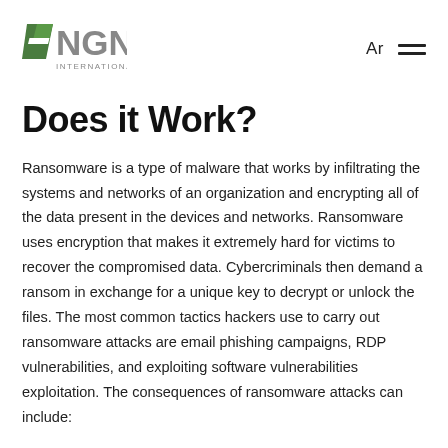NGN International | Ar
Does it Work?
Ransomware is a type of malware that works by infiltrating the systems and networks of an organization and encrypting all of the data present in the devices and networks. Ransomware uses encryption that makes it extremely hard for victims to recover the compromised data. Cybercriminals then demand a ransom in exchange for a unique key to decrypt or unlock the files. The most common tactics hackers use to carry out ransomware attacks are email phishing campaigns, RDP vulnerabilities, and exploiting software vulnerabilities exploitation. The consequences of ransomware attacks can include: